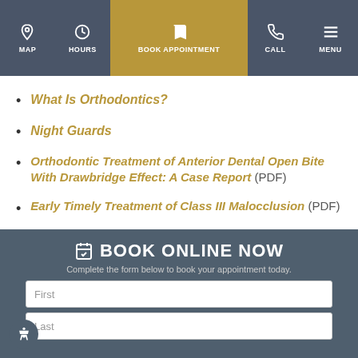MAP | HOURS | BOOK APPOINTMENT | CALL | MENU
What Is Orthodontics?
Night Guards
Orthodontic Treatment of Anterior Dental Open Bite With Drawbridge Effect: A Case Report (PDF)
Early Timely Treatment of Class III Malocclusion (PDF)
BOOK ONLINE NOW
Complete the form below to book your appointment today.
First
Last